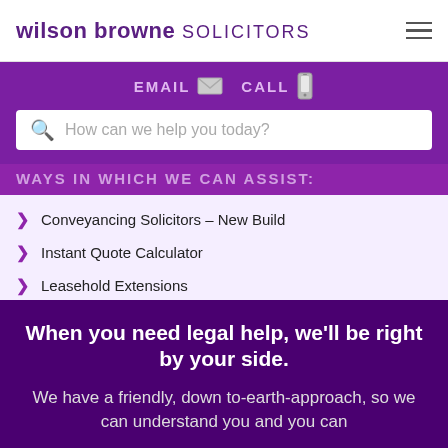wilson browne SOLICITORS
EMAIL  CALL
How can we help you today?
WAYS IN WHICH WE CAN ASSIST:
Conveyancing Solicitors – New Build
Instant Quote Calculator
Leasehold Extensions
Private Landlord
Residential Conveyancing
When you need legal help, we'll be right by your side.
We have a friendly, down to-earth-approach, so we can understand you and you can